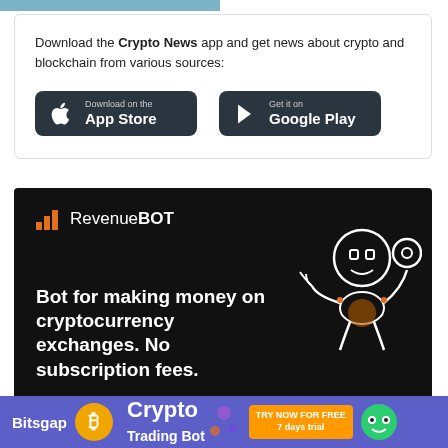Download the Crypto News app and get news about crypto and blockchain from various sources:
[Figure (infographic): App Store and Google Play download buttons on dark background]
[Figure (infographic): RevenueBOT advertisement banner with robot illustration. Text: Bot for making money on cryptocurrency exchanges. No subscription fees.]
[Figure (infographic): Bitsgap Crypto Trading Bot banner. TRY NOW FOR FREE 7 days trial.]